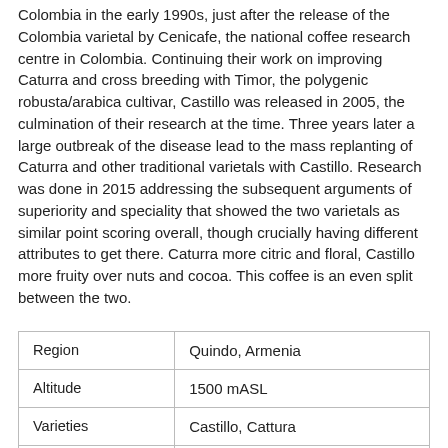Colombia in the early 1990s, just after the release of the Colombia varietal by Cenicafe, the national coffee research centre in Colombia. Continuing their work on improving Caturra and cross breeding with Timor, the polygenic robusta/arabica cultivar, Castillo was released in 2005, the culmination of their research at the time. Three years later a large outbreak of the disease lead to the mass replanting of Caturra and other traditional varietals with Castillo. Research was done in 2015 addressing the subsequent arguments of superiority and speciality that showed the two varietals as similar point scoring overall, though crucially having different attributes to get there. Caturra more citric and floral, Castillo more fruity over nuts and cocoa. This coffee is an even split between the two.
| Region | Quindo, Armenia |
| Altitude | 1500 mASL |
| Varieties | Castillo, Cattura |
| Tasting Notes | Candyfloss, marzipan, plum, strawberry |